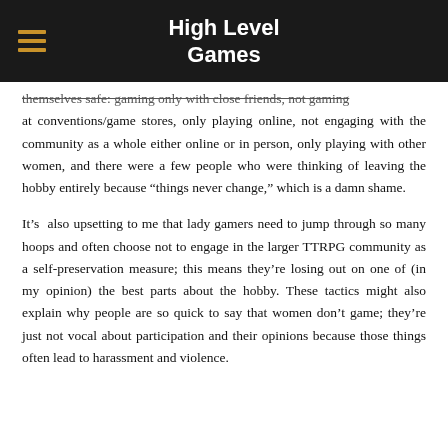High Level Games
themselves safe: gaming only with close friends, not gaming at conventions/game stores, only playing online, not engaging with the community as a whole either online or in person, only playing with other women, and there were a few people who were thinking of leaving the hobby entirely because “things never change,” which is a damn shame.
It’s also upsetting to me that lady gamers need to jump through so many hoops and often choose not to engage in the larger TTRPG community as a self-preservation measure; this means they’re losing out on one of (in my opinion) the best parts about the hobby. These tactics might also explain why people are so quick to say that women don’t game; they’re just not vocal about participation and their opinions because those things often lead to harassment and violence.